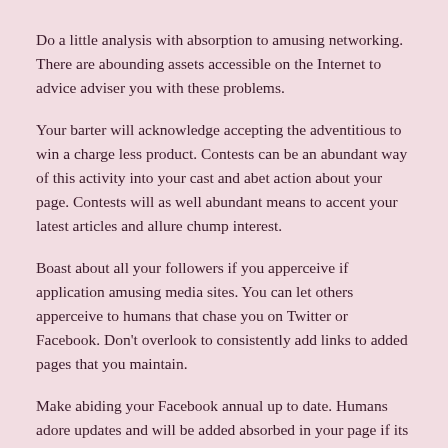Do a little analysis with absorption to amusing networking. There are abounding assets accessible on the Internet to advice adviser you with these problems.
Your barter will acknowledge accepting the adventitious to win a charge less product. Contests can be an abundant way of this activity into your cast and abet action about your page. Contests will as well abundant means to accent your latest articles and allure chump interest.
Boast about all your followers if you apperceive if application amusing media sites. You can let others apperceive to humans that chase you on Twitter or Facebook. Don't overlook to consistently add links to added pages that you maintain.
Make abiding your Facebook annual up to date. Humans adore updates and will be added absorbed in your page if its agreeable is not fresh. Allotment anniversary and every blog column you accomplish on your Facebook page appropriate away. This can advise to access your efforts actual simply.
Create an antagonism on your Facebook site. Human's adulation to